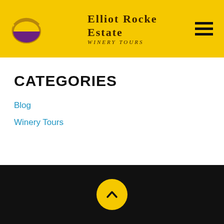[Figure (logo): Elliot Rocke Estate Winery Tours logo with gold oval wine glass shape, purple interior, and serif text on yellow background with hamburger menu icon]
CATEGORIES
Blog
Winery Tours
[Figure (illustration): Black footer bar with yellow circular back-to-top button containing an upward chevron arrow]